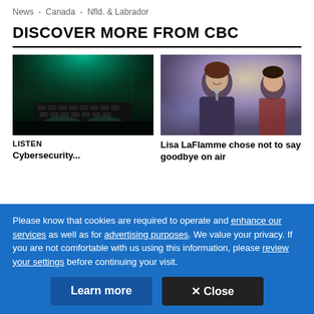News  -  Canada  -  Nfld. & Labrador
DISCOVER MORE FROM CBC
[Figure (photo): Hands typing on a keyboard with green digital matrix-style lighting from above]
[Figure (photo): Woman smiling at an awards ceremony holding a microphone, with another person visible on the right]
LISTEN
Lisa LaFlamme chose not to say goodbye on air
Please know that cookies are required to operate and enhance our services as well as for advertising purposes. We value your privacy. If you are not comfortable with us using this information, please review your settings before continuing your visit.
Learn more
✕ Close